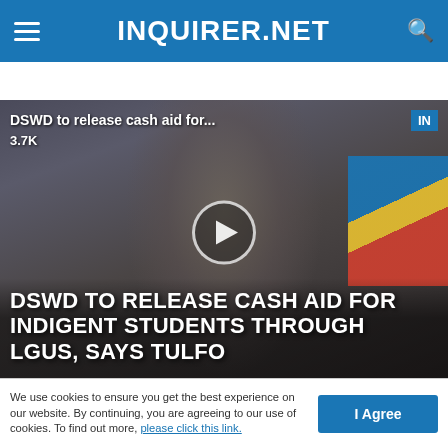INQUIRER.NET
[Figure (screenshot): Video thumbnail showing a man with text overlay: 'DSWD TO RELEASE CASH AID FOR INDIGENT STUDENTS THROUGH LGUS, SAYS TULFO'. Video label at top: 'DSWD to release cash aid for...' with 3.7K views. Play button in center.]
We use cookies to ensure you get the best experience on our website. By continuing, you are agreeing to our use of cookies. To find out more, please click this link.